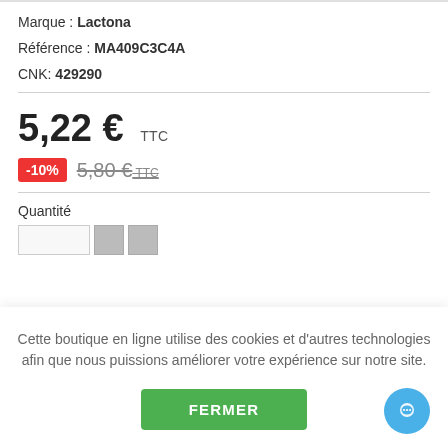Marque : Lactona
Référence : MA409C3C4A
CNK: 429290
5,22 € TTC
-10%  5,80 € TTC
Quantité
Cette boutique en ligne utilise des cookies et d'autres technologies afin que nous puissions améliorer votre expérience sur notre site.
FERMER